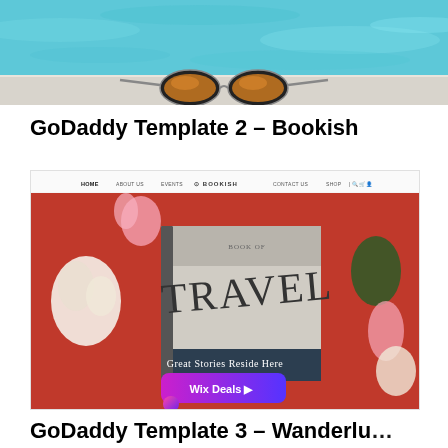[Figure (photo): Top portion of a photo showing a swimming pool with sunglasses resting on the edge, blue water visible]
GoDaddy Template 2 – Bookish
[Figure (screenshot): Screenshot of the Bookish GoDaddy website template showing a navigation bar with HOME, ABOUT US, EVENTS, BOOKISH logo, CONTACT US, SHOP links, and a hero image of a TRAVEL book on red background with flowers, text 'Great Stories Reside Here' and a pink/purple 'Wix Deals ▶' button overlay]
GoDaddy Template 3 – Wanderlu…